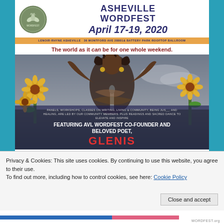[Figure (illustration): Asheville Wordfest event poster. Features AVL Wordfest circular logo (olive green with leaf motif), title 'ASHEVILLE WORDFEST April 17-19, 2020', location bar 'LENOIR-RHYNE ASHEVILLE 36 MONTFORD AVE 28801& BATTERY PARK ROOFTOP BALLROOM', tagline 'The world as it can be for one whole weekend.', a photo of a Black woman performing at a microphone with arms raised, sunflowers in background, overlay text about panels/workshops, and 'FEATURING AVL WORDFEST CO-FOUNDER AND BELOVED POET, GLENIS' in yellow and red text.]
Privacy & Cookies: This site uses cookies. By continuing to use this website, you agree to their use.
To find out more, including how to control cookies, see here: Cookie Policy
Close and accept